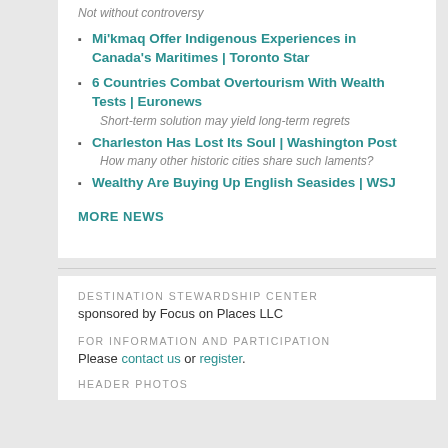Not without controversy
Mi'kmaq Offer Indigenous Experiences in Canada's Maritimes | Toronto Star
6 Countries Combat Overtourism With Wealth Tests | Euronews
Short-term solution may yield long-term regrets
Charleston Has Lost Its Soul | Washington Post
How many other historic cities share such laments?
Wealthy Are Buying Up English Seasides | WSJ
MORE NEWS
DESTINATION STEWARDSHIP CENTER
sponsored by Focus on Places LLC
FOR INFORMATION AND PARTICIPATION
Please contact us or register.
HEADER PHOTOS